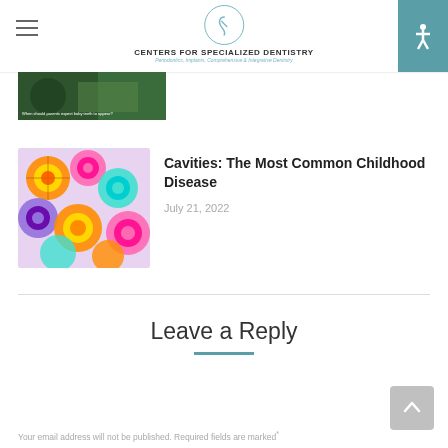CENTERS FOR SPECIALIZED DENTISTRY — Periodontics, Implants, Comprehensive & Integrative Dentistry
[Figure (photo): Partial thumbnail of a previous article showing green background]
Cavities: The Most Common Childhood Disease
July 21, 2022
Leave a Reply
Your email address will not be published. Required fields are marked *